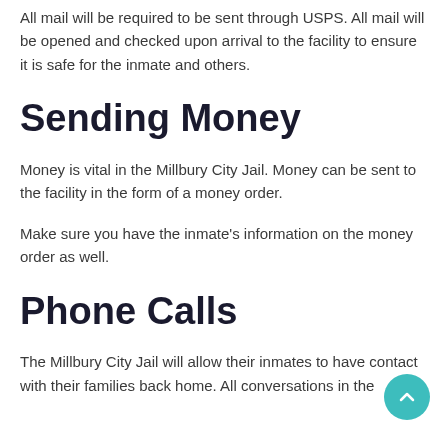All mail will be required to be sent through USPS. All mail will be opened and checked upon arrival to the facility to ensure it is safe for the inmate and others.
Sending Money
Money is vital in the Millbury City Jail. Money can be sent to the facility in the form of a money order.
Make sure you have the inmate's information on the money order as well.
Phone Calls
The Millbury City Jail will allow their inmates to have contact with their families back home. All conversations in the